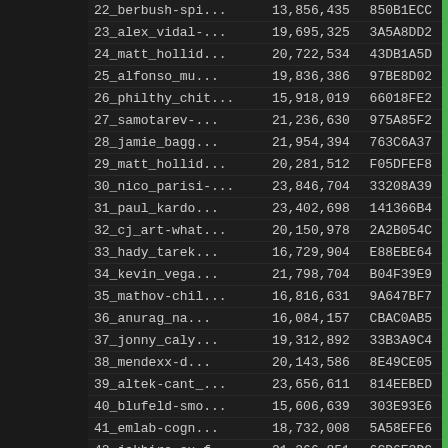| Name | Number | Hash |
| --- | --- | --- |
| 22_berbush-spi... | 13,856,435 | 850B1ECC |
| 23_alex_vidal-... | 19,695,325 | 3A5A8DD2 |
| 24_matt_hollid... | 20,722,534 | 43DB1A5D |
| 25_alfonso_mu... | 19,836,386 | 97BE8D02 |
| 26_philthy_chit... | 15,918,019 | 66018FE2 |
| 27_samotarev-... | 21,236,630 | 975A85F2 |
| 28_jamie_bagg... | 21,954,394 | 763C6A37 |
| 29_matt_hollid... | 20,281,512 | F05DFEF8 |
| 30_nico_parisi-... | 23,846,704 | 33208A39 |
| 31_paul_kardo... | 23,402,698 | 141366B4 |
| 32_cj_art-what... | 20,150,978 | 2A2B054C |
| 33_hady_tarek... | 16,729,904 | E88EBE64 |
| 34_kevin_vega... | 21,798,704 | B04F39E9 |
| 35_mathov-chil... | 16,816,631 | 9A647BF7 |
| 36_anurag_na... | 16,084,157 | CBAC0AB5 |
| 37_jonny_caly... | 19,312,892 | 33B3A9C4 |
| 38_mendexx-d... | 20,143,586 | 8E49CE05 |
| 39_altek-cant_... | 23,656,611 | 814EEBED |
| 40_blufeld-smo... | 15,606,639 | 303E93E6 |
| 41_emlab-cogn... | 18,732,008 | 5A58EFE6 |
| 42_jakhira-ex-f... | 21,266,851 | 6CD6E3DC |
| 43_abi-q-call_i... | 16,396,582 | 84A67560 |